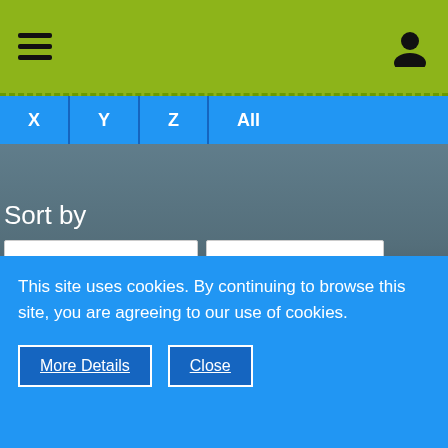[Figure (screenshot): Navigation bar with hamburger menu icon on left and user/person icon on right, on a yellow-green background]
[Figure (screenshot): Tab bar with letters X, Y, Z and All on blue background]
Sort by
[Figure (screenshot): Two dropdown menus: 'Posts' and 'Descending' with chevron arrows]
[Figure (screenshot): Blue SUBMIT button]
Newest Members
This site uses cookies. By continuing to browse this site, you are agreeing to our use of cookies.
[Figure (screenshot): Two buttons: 'More Details' and 'Close' on blue cookie banner]